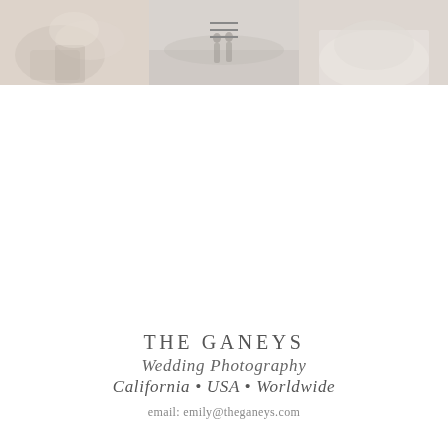[Figure (photo): Three wedding photography images arranged in a horizontal strip at the top: left shows wedding details (shoes/accessories), center shows couple on beach, right shows bride's dress/veil detail. A hamburger menu icon overlays the center.]
THE GANEYS
Wedding Photography
California • USA • Worldwide
email: emily@theganeys.com